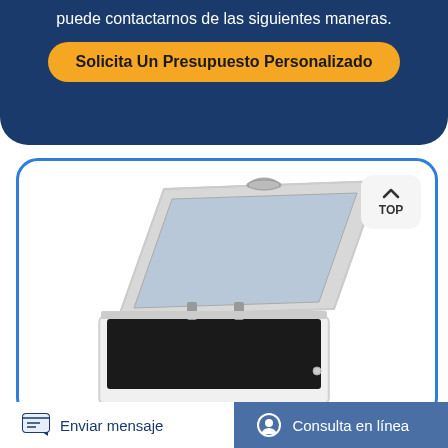puede contactarnos de las siguientes maneras.
Solicita Un Presupuesto Personalizado
[Figure (photo): Open chest freezer with lid raised, white exterior, dark interior, photographed on white background]
Enviar mensaje
Consulta en línea